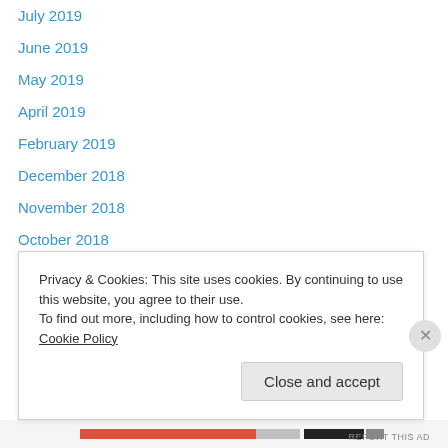July 2019
June 2019
May 2019
April 2019
February 2019
December 2018
November 2018
October 2018
September 2018
August 2018
July 2018
June 2018
May 2018
April 2018
Privacy & Cookies: This site uses cookies. By continuing to use this website, you agree to their use.
To find out more, including how to control cookies, see here: Cookie Policy
Close and accept